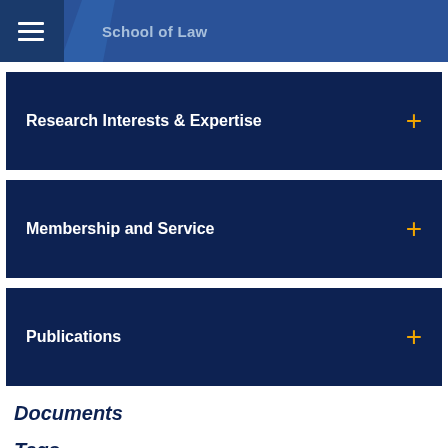School of Law
Research Interests & Expertise
Membership and Service
Publications
Documents
Tags
American Law Institute